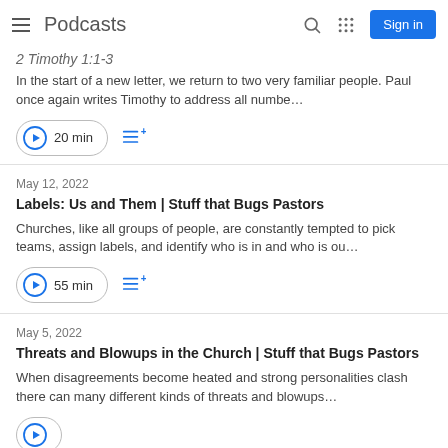Podcasts | Sign in
2 Timothy 1:1-3
In the start of a new letter, we return to two very familiar people. Paul once again writes Timothy to address all numbe…
20 min
May 12, 2022
Labels: Us and Them | Stuff that Bugs Pastors
Churches, like all groups of people, are constantly tempted to pick teams, assign labels, and identify who is in and who is ou…
55 min
May 5, 2022
Threats and Blowups in the Church | Stuff that Bugs Pastors
When disagreements become heated and strong personalities clash there can many different kinds of threats and blowups…